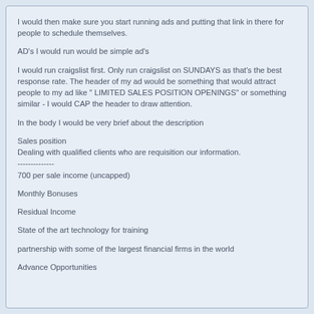I would then make sure you start running ads and putting that link in there for people to schedule themselves.
AD's I would run would be simple ad's
I would run craigslist first. Only run craigslist on SUNDAYS as that's the best response rate. The header of my ad would be something that would attract people to my ad like " LIMITED SALES POSITION OPENINGS" or something similar - I would CAP the header to draw attention.
In the body I would be very brief about the description
Sales position
Dealing with qualified clients who are requisition our information.
--------------
700 per sale income (uncapped)
Monthly Bonuses
Residual Income
State of the art technology for training
partnership with some of the largest financial firms in the world
Advance Opportunities